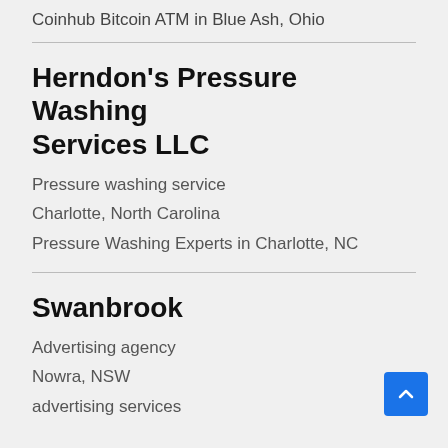Coinhub Bitcoin ATM in Blue Ash, Ohio
Herndon's Pressure Washing Services LLC
Pressure washing service
Charlotte, North Carolina
Pressure Washing Experts in Charlotte, NC
Swanbrook
Advertising agency
Nowra, NSW
advertising services